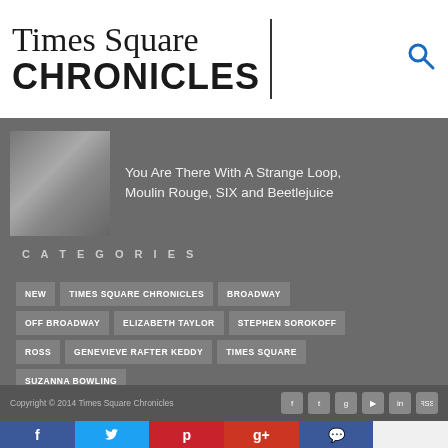Times Square CHRONICLES
You Are There With A Strange Loop, Moulin Rouge, SIX and Beetlejuice
CATEGORIES
NEW
TIMES SQUARE CHRONICLES
BROADWAY
OFF BROADWAY
ELIZABETH TAYLOR
STEPHEN SOROKOFF
ROSS
GENEVIEVE RAFTER KEDDY
TIMES SQUARE
SUZANNA BOWLING
Copyright © 2014 Times Square Chronicles